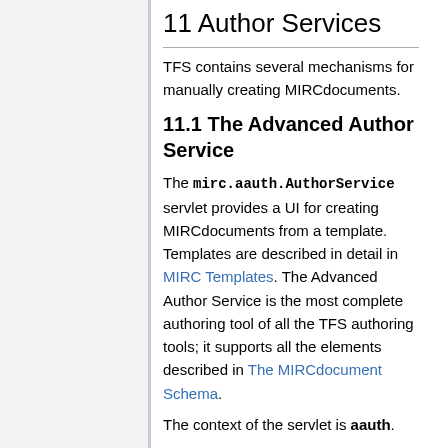11 Author Services
TFS contains several mechanisms for manually creating MIRCdocuments.
11.1 The Advanced Author Service
The mirc.aauth.AuthorService servlet provides a UI for creating MIRCdocuments from a template. Templates are described in detail in MIRC Templates. The Advanced Author Service is the most complete authoring tool of all the TFS authoring tools; it supports all the elements described in The MIRCdocument Schema.
The context of the servlet is aauth.
The doGet method provides different responses depending on the path.